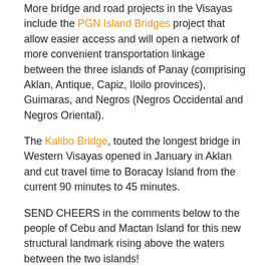More bridge and road projects in the Visayas include the PGN Island Bridges project that allow easier access and will open a network of more convenient transportation linkage between the three islands of Panay (comprising Aklan, Antique, Capiz, Iloilo provinces), Guimaras, and Negros (Negros Occidental and Negros Oriental).
The Kalibo Bridge, touted the longest bridge in Western Visayas opened in January in Aklan and cut travel time to Boracay Island from the current 90 minutes to 45 minutes.
SEND CHEERS in the comments below to the people of Cebu and Mactan Island for this new structural landmark rising above the waters between the two islands!
Want to know how to be a Proud Pinoy? Like, Follow, Subscribe to GoodNewsPilipinas.com and our socials Facebook, Twitter, Instagram, Good News Pilipinas!